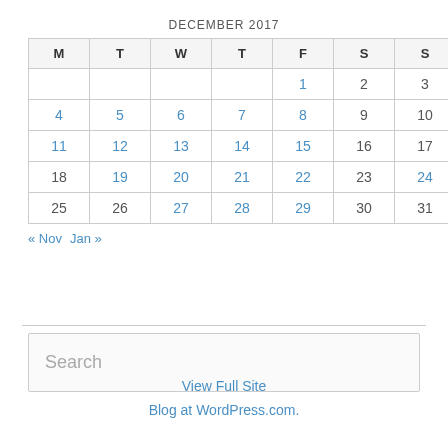DECEMBER 2017
| M | T | W | T | F | S | S |
| --- | --- | --- | --- | --- | --- | --- |
|  |  |  |  | 1 | 2 | 3 |
| 4 | 5 | 6 | 7 | 8 | 9 | 10 |
| 11 | 12 | 13 | 14 | 15 | 16 | 17 |
| 18 | 19 | 20 | 21 | 22 | 23 | 24 |
| 25 | 26 | 27 | 28 | 29 | 30 | 31 |
« Nov   Jan »
Search
View Full Site
Blog at WordPress.com.